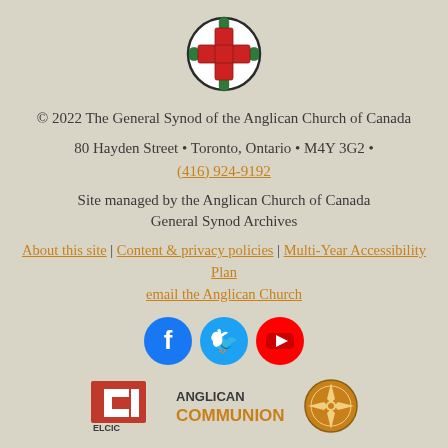[Figure (logo): Anglican Church of Canada logo: red cross with green maple leaves in a circular border]
© 2022 The General Synod of the Anglican Church of Canada
80 Hayden Street • Toronto, Ontario • M4Y 3G2 • (416) 924-9192
Site managed by the Anglican Church of Canada General Synod Archives
About this site | Content & privacy policies | Multi-Year Accessibility Plan
email the Anglican Church
[Figure (illustration): Social media icons: Facebook (blue), Twitter (teal), YouTube (red)]
[Figure (logo): ELCIC logo and Anglican Communion logo with compass rose]